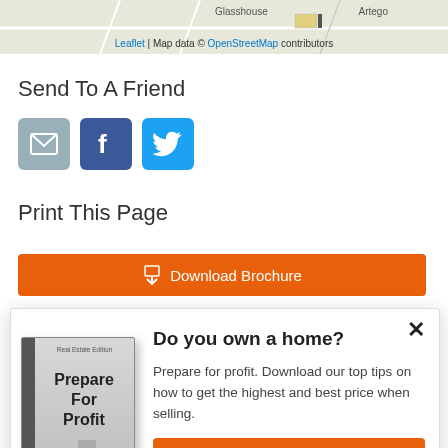[Figure (map): Partial map showing street labels including 'Glasshouse' and 'Artego' with map attribution: Leaflet | Map data © OpenStreetMap contributors]
Send To A Friend
[Figure (infographic): Three share icons: email (grey), Facebook (dark blue with f), Twitter (light blue with bird)]
Print This Page
[Figure (screenshot): Orange Download Brochure button]
[Figure (infographic): Modal popup with close X, book cover image 'Prepare For Profit - Real Estate Edition', heading 'Do you own a home?', body text 'Prepare for profit. Download our top tips on how to get the highest and best price when selling.', and orange 'Get It Now!' button]